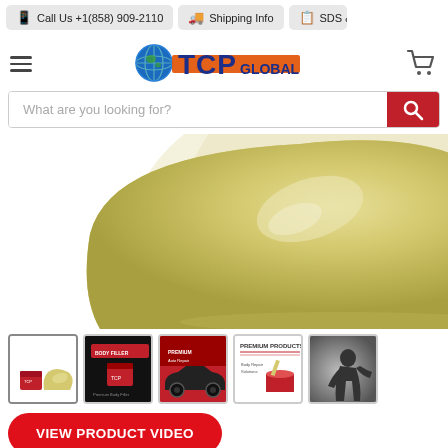Call Us +1(858) 909-2110 | Shipping Info | SDS &
[Figure (logo): TCP Global logo with globe icon and shopping cart icon]
[Figure (screenshot): Search bar with placeholder text 'What are you looking for?' and red search button]
[Figure (photo): Close-up product photo showing a pale yellow/cream colored automotive putty or filler product on white background]
[Figure (photo): Five product thumbnail images: 1) Pale yellow putty block with TCP branding, 2) Product on dark background with text, 3) Red product promotional image with car, 4) Premium products branding with paint can, 5) Automotive application photo in grayscale]
VIEW PRODUCT VIDEO